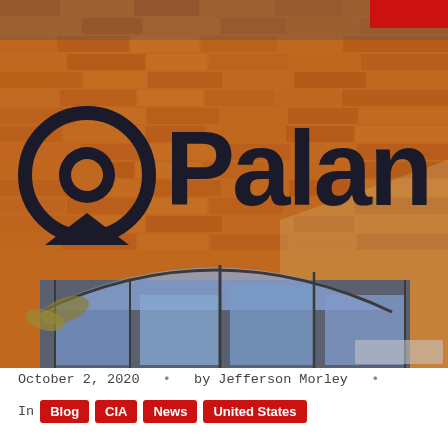[Figure (photo): Close-up photograph of a brick building facade showing the Palantir company logo (circular symbol and text reading 'Palan...') mounted on a red-brown brick wall with arched windows visible at the bottom. A red badge appears in the top-right corner.]
October 2, 2020 • by Jefferson Morley •
In Blog CIA News United States